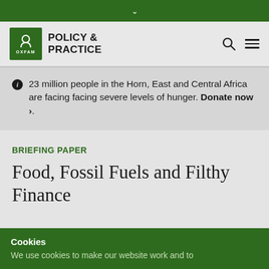↓
[Figure (logo): Oxfam Policy & Practice logo with green box containing Oxfam shield icon and text POLICY & PRACTICE]
23 million people in the Horn, East and Central Africa are facing facing severe levels of hunger. Donate now >.
BRIEFING PAPER
Food, Fossil Fuels and Filthy Finance
Cookies
We use cookies to make our website work and to